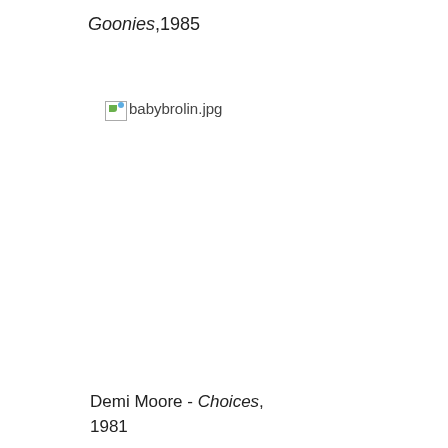Goonies,1985
[Figure (photo): Broken image placeholder labeled babybrolin.jpg]
Demi Moore - Choices, 1981